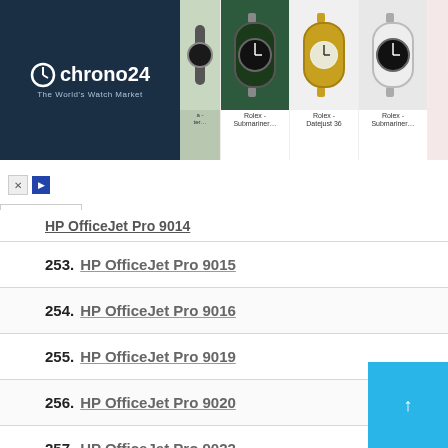[Figure (screenshot): Chrono24 advertisement banner with logo on dark blue background and watch product thumbnails (Rolex Submariner, Rolex Datejust 36, Rolex Submariner, Omega Speedmaster) with labels]
252. HP OfficeJet Pro 9014 (partial, scrolled)
253. HP OfficeJet Pro 9015
254. HP OfficeJet Pro 9016
255. HP OfficeJet Pro 9019
256. HP OfficeJet Pro 9020
257. HP OfficeJet Pro 9022
258. HP OfficeJet Pro 9025
259. HP OfficeJet Pro K5400
260. HP OfficeJet Pro K5400dn
261. HP OfficeJet Pro K5400dtn